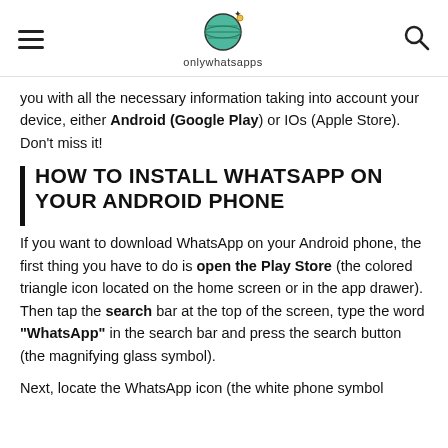onlywhatsapps
you with all the necessary information taking into account your device, either Android (Google Play) or IOs (Apple Store). Don't miss it!
HOW TO INSTALL WHATSAPP ON YOUR ANDROID PHONE
If you want to download WhatsApp on your Android phone, the first thing you have to do is open the Play Store (the colored triangle icon located on the home screen or in the app drawer). Then tap the search bar at the top of the screen, type the word "WhatsApp" in the search bar and press the search button (the magnifying glass symbol).
Next, locate the WhatsApp icon (the white phone symbol